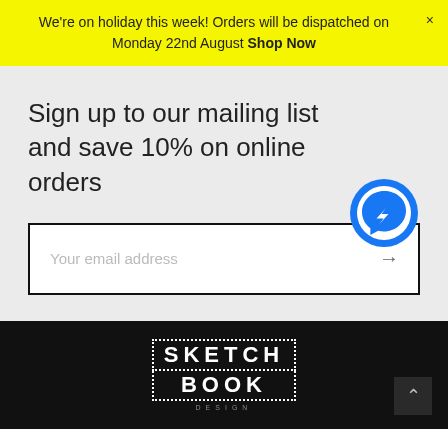We're on holiday this week! Orders will be dispatched on Monday 22nd August Shop Now
Sign up to our mailing list and save 10% on online orders
[Figure (other): Email signup input box with placeholder text 'Your email address' and an arrow button, plus a Facebook Messenger chat icon overlay]
[Figure (logo): Sketchbook Design logo in white on black background with dotted border outline]
Back to top button (chevron up)